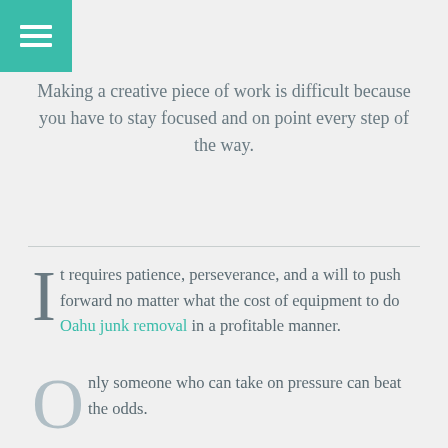[Figure (other): Teal menu/hamburger icon button in top-left corner]
Making a creative piece of work is difficult because you have to stay focused and on point every step of the way.
It requires patience, perseverance, and a will to push forward no matter what the cost of equipment to do Oahu junk removal in a profitable manner.
Only someone who can take on pressure can beat the odds.